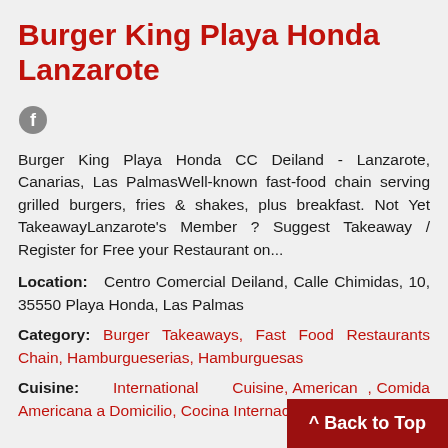Burger King Playa Honda Lanzarote
[Figure (logo): Facebook icon (circular grey logo)]
Burger King Playa Honda CC Deiland - Lanzarote, Canarias, Las PalmasWell-known fast-food chain serving grilled burgers, fries & shakes, plus breakfast. Not Yet TakeawayLanzarote's Member ? Suggest Takeaway / Register for Free your Restaurant on...
Location: Centro Comercial Deiland, Calle Chimidas, 10, 35550 Playa Honda, Las Palmas
Category: Burger Takeaways, Fast Food Restaurants Chain, Hamburgueserias, Hamburguesas
Cuisine: International Cuisine, American , Comida Americana a Domicilio, Cocina Internacional